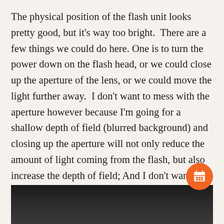The physical position of the flash unit looks pretty good, but it's way too bright.  There are a few things we could do here. One is to turn the power down on the flash head, or we could close up the aperture of the lens, or we could move the light further away.  I don't want to mess with the aperture however because I'm going for a shallow depth of field (blurred background) and closing up the aperture will not only reduce the amount of light coming from the flash, but also increase the depth of field; And I don't want to move the light too far away either or I risk having the light hitting areas of the scene that I don't want. So turning down the power was my only real choice. Below I turned the power all the way down to 1/128 of full power.
[Figure (photo): Dark photograph, partially visible at the bottom of the page, showing a dimly lit scene with a subject emerging from near-black background.]